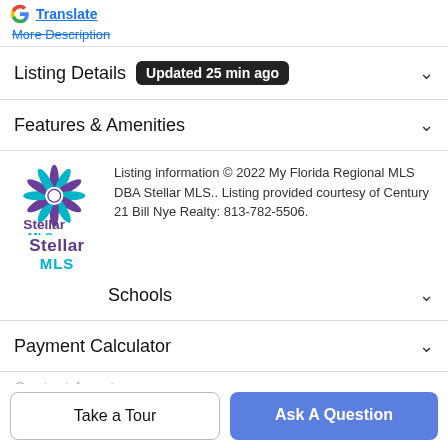[Figure (logo): Google G logo and Translate link]
More Description
Listing Details  Updated 25 min ago
Features & Amenities
Listing information © 2022 My Florida Regional MLS DBA Stellar MLS.. Listing provided courtesy of Century 21 Bill Nye Realty: 813-782-5506.
Schools
Payment Calculator
Contact Agent
Take a Tour
Ask A Question